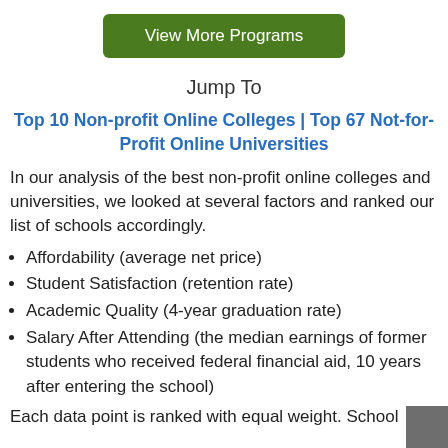[Figure (other): Green button labeled 'View More Programs']
Jump To
Top 10 Non-profit Online Colleges | Top 67 Not-for-Profit Online Universities
In our analysis of the best non-profit online colleges and universities, we looked at several factors and ranked our list of schools accordingly.
Affordability (average net price)
Student Satisfaction (retention rate)
Academic Quality (4-year graduation rate)
Salary After Attending (the median earnings of former students who received federal financial aid, 10 years after entering the school)
Each data point is ranked with equal weight. School